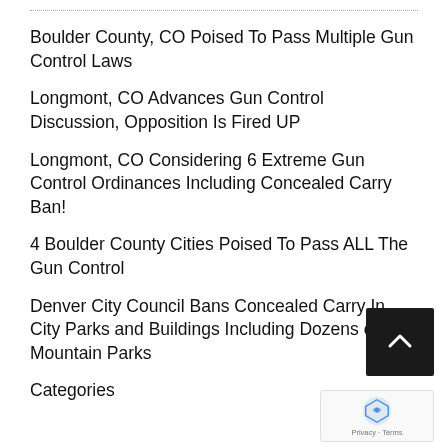Boulder County, CO Poised To Pass Multiple Gun Control Laws
Longmont, CO Advances Gun Control Discussion, Opposition Is Fired UP
Longmont, CO Considering 6 Extreme Gun Control Ordinances Including Concealed Carry Ban!
4 Boulder County Cities Poised To Pass ALL The Gun Control
Denver City Council Bans Concealed Carry In City Parks and Buildings Including Dozens of Mountain Parks
Categories